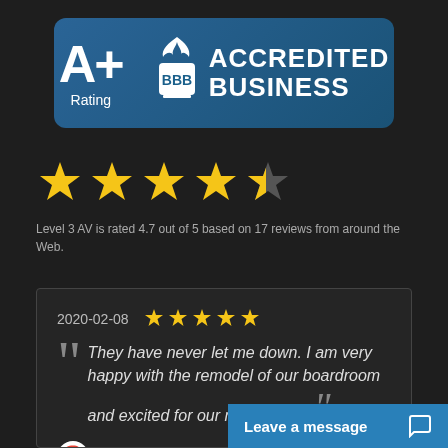[Figure (logo): BBB Accredited Business badge with A+ Rating on dark blue rounded rectangle background. Left side shows 'A+' in large white text with 'Rating' below. Right side shows BBB torch logo and 'ACCREDITED BUSINESS' text.]
[Figure (infographic): 4.7 out of 5 star rating shown as 4 full yellow stars and 1 partial (about 70%) yellow star on dark background.]
Level 3 AV is rated 4.7 out of 5 based on 17 reviews from around the Web.
[Figure (infographic): Review card with dark background. Date: 2020-02-08, 5 yellow stars. Quote: 'They have never let me down. I am very happy with the remodel of our boardroom and excited for our next project.' Google G logo, reviewer name: Bill M., link text: View full review here.]
2020-02-08
They have never let me down. I am very happy with the remodel of our boardroom and excited for our next project.
Bill M.
View full review here